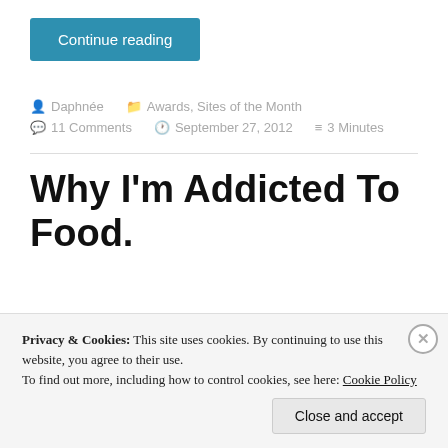Continue reading
Daphnée   Awards, Sites of the Month   11 Comments   September 27, 2012   3 Minutes
Why I'm Addicted To Food.
Privacy & Cookies: This site uses cookies. By continuing to use this website, you agree to their use.
To find out more, including how to control cookies, see here: Cookie Policy
Close and accept